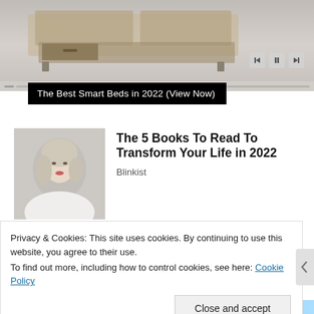[Figure (photo): Top portion of a smart bed product advertisement image showing a bed with drawer storage, partially visible. Media player controls (skip back, pause, skip forward) visible in lower right of image area. A progress/slider bar runs across the bottom of the image.]
The Best Smart Beds in 2022 (View Now)
[Figure (photo): Portrait photo of a blonde woman in a white robe, looking to the side, used as thumbnail for a Blinkist article.]
The 5 Books To Read To Transform Your Life in 2022
Blinkist
Privacy & Cookies: This site uses cookies. By continuing to use this website, you agree to their use.
To find out more, including how to control cookies, see here: Cookie Policy
Close and accept